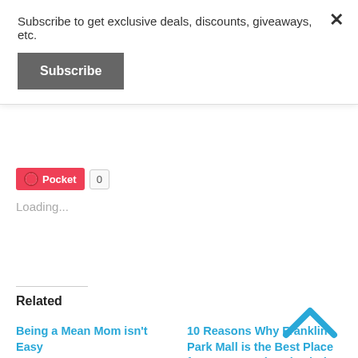Subscribe to get exclusive deals, discounts, giveaways, etc.
Subscribe
Pocket 0
Loading...
Related
Being a Mean Mom isn't Easy
September 19, 2013
In "future generations"
10 Reasons Why Franklin Park Mall is the Best Place for Moms to Shop (Includes $50 Giveaway!)
August 4, 2016